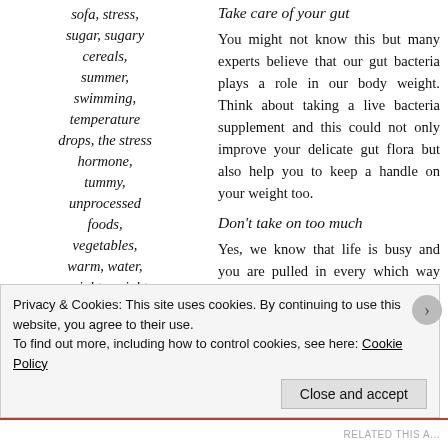sofa, stress, sugar, sugary cereals, summer, swimming, temperature drops, the stress hormone, tummy, unprocessed foods, vegetables, warm, water, weight, weight management,
Take care of your gut
You might not know this but many experts believe that our gut bacteria plays a role in our body weight. Think about taking a live bacteria supplement and this could not only improve your delicate gut flora but also help you to keep a handle on your weight too.
Don't take on too much
Yes, we know that life is busy and you are pulled in every which way but stress isn't going to do you any good. As well as making you worry, cortisol, the stress hormone, can affect energy expenditure and increase our consumption of foods that are high in fat and sugar. This can cause weight gain around the tummy
Privacy & Cookies: This site uses cookies. By continuing to use this website, you agree to their use.
To find out more, including how to control cookies, see here: Cookie Policy
Close and accept